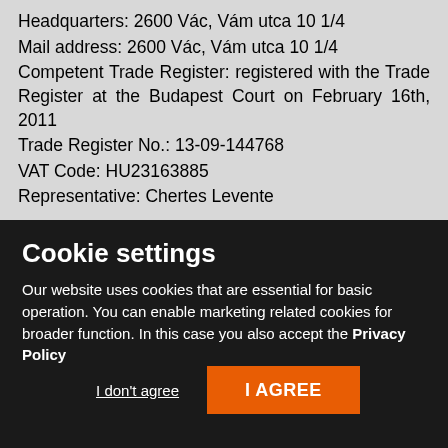Headquarters: 2600 Vác, Vám utca 10 1/4
Mail address: 2600 Vác, Vám utca 10 1/4
Competent Trade Register: registered with the Trade Register at the Budapest Court on February 16th, 2011
Trade Register No.: 13-09-144768
VAT Code: HU23163885
Representative: Chertes Levente
Cookie settings
Our website uses cookies that are essential for basic operation. You can enable marketing related cookies for broader function. In this case you also accept the Privacy Policy
I don't agree
I AGREE